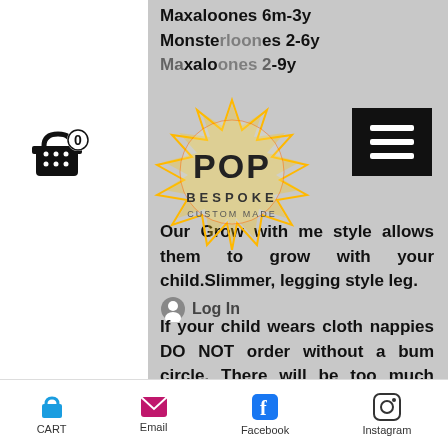Maxaloones 6m-3y
Monsterloones 2-6y
Maxaloones 2-9y
[Figure (logo): POP BESPOKE colourful spiky logo with rainbow colours]
[Figure (screenshot): Shopping cart icon with 0 badge]
[Figure (screenshot): Hamburger menu icon (three white lines on black background)]
Our Grow with me style allows them to grow with your child.Slimmer, legging style leg.
Log In
If your child wears cloth nappies DO NOT order without a bum circle. There will be too much strain on the crotch.
CUSTOMER COMMENT "I absolutely adore our pop maxaloons because not only
CART   Email   Facebook   Instagram